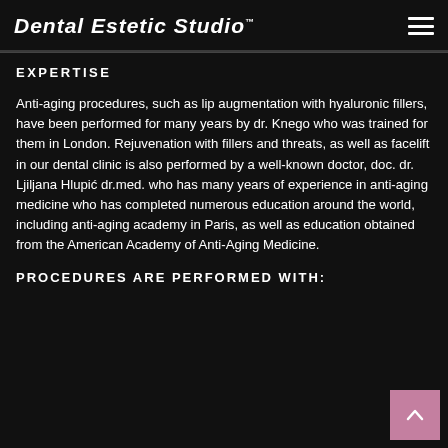Dental Estetic Studio
EXPERTISE
Anti-aging procedures, such as lip augmentation with hyaluronic fillers, have been performed for many years by dr. Knego who was trained for them in London. Rejuvenation with fillers and threats, as well as facelift in our dental clinic is also performed by a well-known doctor, doc. dr. Ljiljana Hlupić dr.med. who has many years of experience in anti-aging medicine who has completed numerous education around the world, including anti-aging academy in Paris, as well as education obtained from the American Academy of Anti-Aging Medicine.
PROCEDURES ARE PERFORMED WITH: